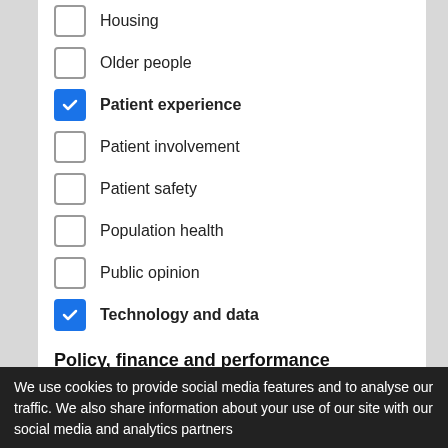Housing
Older people
Patient experience (checked)
Patient involvement
Patient safety
Population health
Public opinion
Technology and data (checked)
Policy, finance and performance
Access to care
Brexit
Commissioning and contracting
Devolution
Governance and regulation
Health and Social Care Act 2012
We use cookies to provide social media features and to analyse our traffic. We also share information about your use of our site with our social media and analytics partners